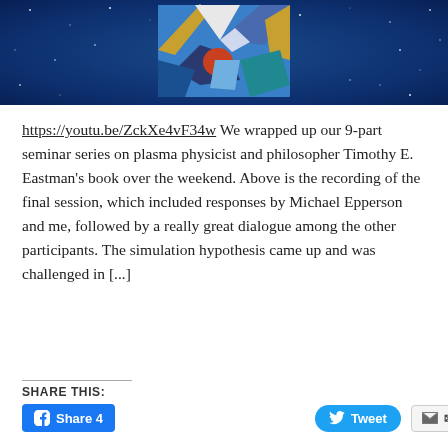[Figure (photo): A dark blue starfield background with a colorful abstract painting (geometric shapes in blue, gold, white) centered in the upper portion of the image.]
https://youtu.be/ZckXe4vF34w We wrapped up our 9-part seminar series on plasma physicist and philosopher Timothy E. Eastman's book over the weekend. Above is the recording of the final session, which included responses by Michael Epperson and me, followed by a really great dialogue among the other participants. The simulation hypothesis came up and was challenged in [...]
SHARE THIS:
Share 4   Tweet   Email